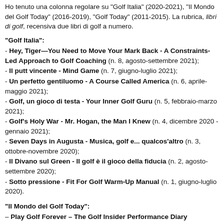Ho tenuto una colonna regolare su "Golf Italia" (2020-2021), "Il Mondo del Golf Today" (2016-2019), "Golf Today" (2011-2015). La rubrica, libri di golf, recensiva due libri di golf a numero.
"Golf Italia":
- Hey, Tiger—You Need to Move Your Mark Back - A Constraints-Led Approach to Golf Coaching (n. 8, agosto-settembre 2021);
- Il putt vincente - Mind Game (n. 7, giugno-luglio 2021);
- Un perfetto gentiluomo - A Course Called America (n. 6, aprile-maggio 2021);
- Golf, un gioco di testa - Your Inner Golf Guru (n. 5, febbraio-marzo 2021);
- Golf's Holy War - Mr. Hogan, the Man I Knew (n. 4, dicembre 2020 - gennaio 2021);
- Seven Days in Augusta - Musica, golf e... qualcos'altro (n. 3, ottobre-novembre 2020);
- Il Divano sul Green - Il golf è il gioco della fiducia (n. 2, agosto-settembre 2020);
- Sotto pressione - Fit For Golf Warm-Up Manual (n. 1, giugno-luglio 2020).
"Il Mondo del Golf Today":
– Play Golf Forever – The Golf Insider Performance Diary